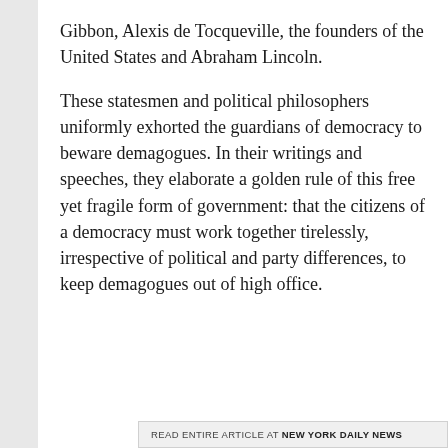Gibbon, Alexis de Tocqueville, the founders of the United States and Abraham Lincoln.
These statesmen and political philosophers uniformly exhorted the guardians of democracy to beware demagogues. In their writings and speeches, they elaborate a golden rule of this free yet fragile form of government: that the citizens of a democracy must work together tirelessly, irrespective of political and party differences, to keep demagogues out of high office.
READ ENTIRE ARTICLE AT NEW YORK DAILY NEWS